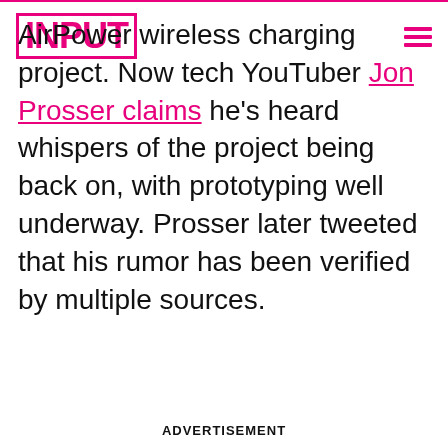INPUT
AirPower wireless charging project. Now tech YouTuber Jon Prosser claims he's heard whispers of the project being back on, with prototyping well underway. Prosser later tweeted that his rumor has been verified by multiple sources.
ADVERTISEMENT